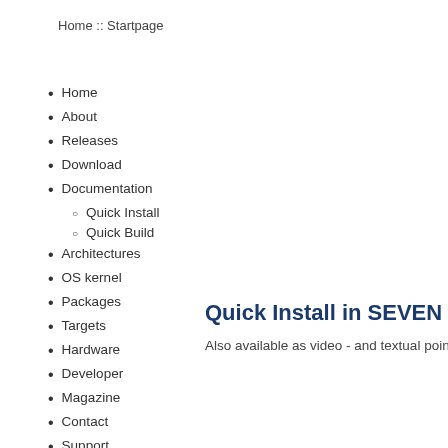Home :: Startpage
Home
About
Releases
Download
Documentation
Quick Install
Quick Build
Architectures
OS kernel
Packages
Targets
Hardware
Developer
Magazine
Contact
Support
FAQ
Quick Install in SEVEN easy s…
Also available as video - and textual point by poi…